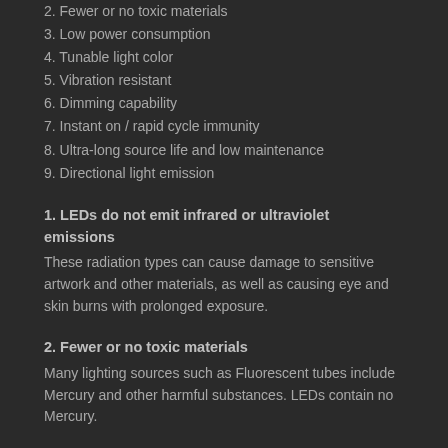2.  Fewer or no toxic materials
3.  Low power consumption
4.  Tunable light color
5.  Vibration resistant
6.  Dimming capability
7.  Instant on / rapid cycle immunity
8.  Ultra-long source life and low maintenance
9. Directional light emission
1.  LEDs do not emit infrared or ultraviolet emissions
These radiation types can cause damage to sensitive artwork and other materials, as well as causing eye and skin burns with prolonged exposure.
2.  Fewer or no toxic materials
Many lighting sources such as Fluorescent tubes include Mercury and other harmful substances.  LEDs contain no Mercury.
3.  Low power consumption
Reduces the carbon emissions required to generate electrical energy and produce the light.